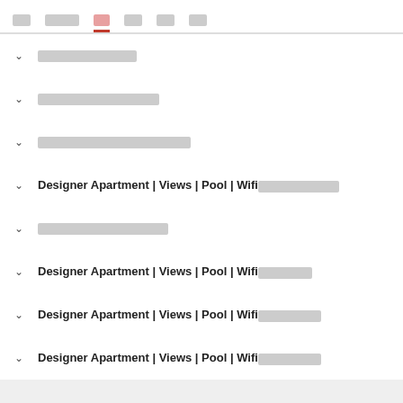[nav bar with redacted menu items]
[redacted text item 1]
[redacted text item 2]
[redacted text item 3]
Designer Apartment | Views | Pool | Wifi[redacted]
[redacted text item 5]
Designer Apartment | Views | Pool | Wifi[redacted]
Designer Apartment | Views | Pool | Wifi[redacted]
Designer Apartment | Views | Pool | Wifi[redacted]
[pill button: redacted]